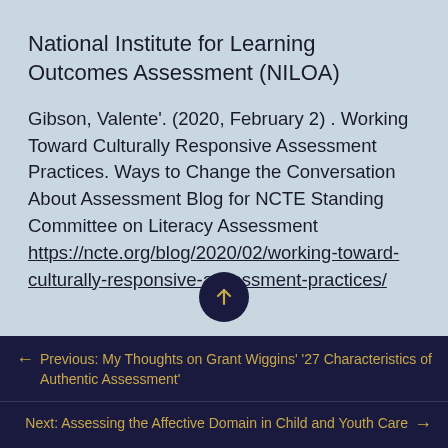National Institute for Learning Outcomes Assessment (NILOA)
Gibson, Valente'. (2020, February 2) . Working Toward Culturally Responsive Assessment Practices. Ways to Change the Conversation About Assessment Blog for NCTE Standing Committee on Literacy Assessment https://ncte.org/blog/2020/02/working-toward-culturally-responsive-assessment-practices/
← Previous: My Thoughts on Grant Wiggins' '27 Characteristics of Authentic Assessment'
Next: Assessing the Affective Domain in Child and Youth Care →